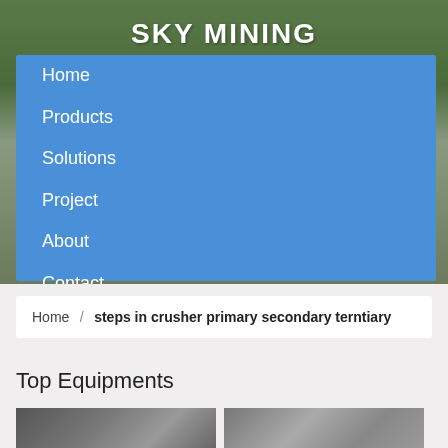[Figure (photo): Hero banner photo of mining equipment and industrial structures with trees in background]
SKY MINING
Home
Products
Solutions
Project
About
Contact
Home  /  steps in crusher primary secondary terntiary
Top Equipments
[Figure (photo): Two thumbnail photos of mining/crusher equipment]